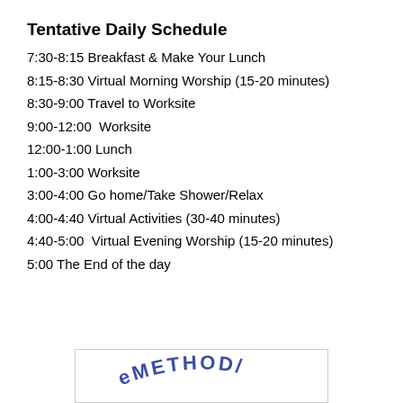Tentative Daily Schedule
7:30-8:15 Breakfast & Make Your Lunch
8:15-8:30 Virtual Morning Worship (15-20 minutes)
8:30-9:00 Travel to Worksite
9:00-12:00  Worksite
12:00-1:00 Lunch
1:00-3:00 Worksite
3:00-4:00 Go home/Take Shower/Relax
4:00-4:40 Virtual Activities (30-40 minutes)
4:40-5:00  Virtual Evening Worship (15-20 minutes)
5:00 The End of the day
[Figure (logo): Methodist organization logo with curved text reading METHOD/C]